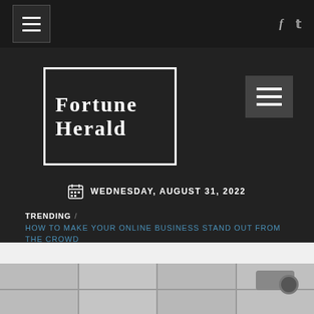Fortune Herald - navigation and social icons
[Figure (logo): Fortune Herald logo in white text on dark background with border]
WEDNESDAY, AUGUST 31, 2022
TRENDING / HOW TO MAKE YOUR ONLINE BUSINESS STAND OUT FROM THE CROWD
[Figure (photo): Security camera mounted on a wall with wood-panel background, black and white photo]